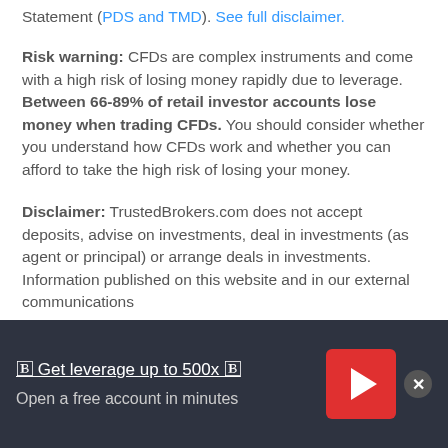Statement (PDS and TMD). See full disclaimer.
Risk warning: CFDs are complex instruments and come with a high risk of losing money rapidly due to leverage. Between 66-89% of retail investor accounts lose money when trading CFDs. You should consider whether you understand how CFDs work and whether you can afford to take the high risk of losing your money.
Disclaimer: TrustedBrokers.com does not accept deposits, advise on investments, deal in investments (as agent or principal) or arrange deals in investments. Information published on this website and in our external communications
🄱 Get leverage up to 500x 🄱
Open a free account in minutes